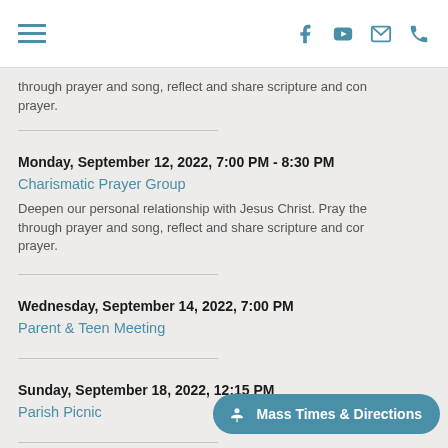Navigation header with hamburger menu and social/contact icons (Facebook, YouTube, Email, Phone)
through prayer and song, reflect and share scripture and con... prayer.
Monday, September 12, 2022, 7:00 PM - 8:30 PM
Charismatic Prayer Group
Deepen our personal relationship with Jesus Christ. Pray the through prayer and song, reflect and share scripture and con... prayer.
Wednesday, September 14, 2022, 7:00 PM
Parent & Teen Meeting
Sunday, September 18, 2022, 12:15 PM
Parish Picnic
Sunday, September 18, 2022, 12:15 PM
Mass Times & Directions